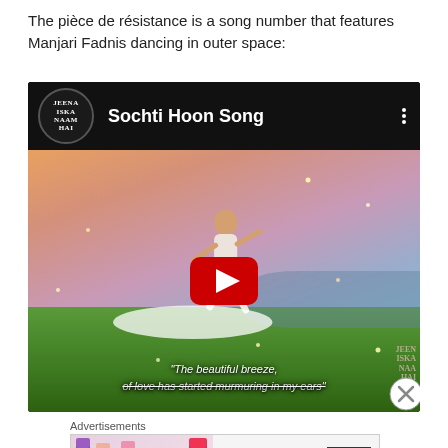The pièce de résistance is a song number that features Manjari Fadnis dancing in outer space:
[Figure (screenshot): YouTube video embed showing 'Sochti Hoon Song' with Jeena Iska Naam Hai logo, dancer in white in a fantasy outdoor setting with pink sky and green ground, red YouTube play button overlay, subtitle 'The beautiful breeze, of love has started murmuring in my ears']
Advertisements
[Figure (screenshot): MAC Cosmetics advertisement banner showing lipsticks in purple, peach, and pink, MAC logo, and SHOP NOW button]